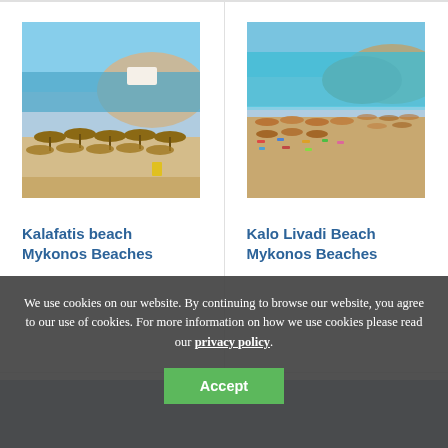[Figure (photo): Kalafatis beach Mykonos – beach with straw umbrellas, turquoise water and a hill in background]
Kalafatis beach Mykonos Beaches
[Figure (photo): Kalo Livadi Beach Mykonos – crowded beach with sunbeds, turquoise sea and hills in background]
Kalo Livadi Beach Mykonos Beaches
We use cookies on our website. By continuing to browse our website, you agree to our use of cookies. For more information on how we use cookies please read our privacy policy.